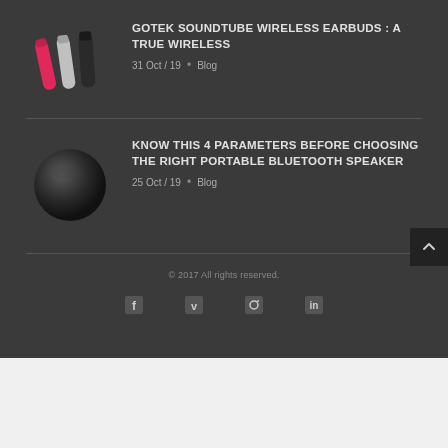[Figure (photo): Three wireless earbuds in pink, silver, and dark colors arranged diagonally]
GOTEK SOUNDTUBE WIRELESS EARBUDS : A TRUE WIRELESS
31 Oct / 19  •  Blog
[Figure (photo): A round dark black portable Bluetooth speaker]
KNOW THIS 4 PARAMETERS BEFORE CHOOSING THE RIGHT PORTABLE BLUETOOTH SPEAKER
25 Oct / 19  •  Blog
© 2017 All rights reserved.